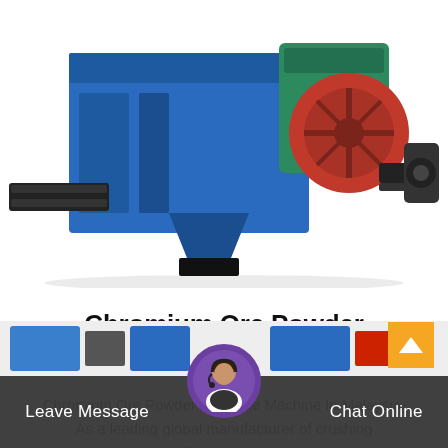[Figure (photo): Industrial briquette machine — large blue metal press/roller machine with green motor housing, red flywheel, and black belt conveyor on white background]
Chromium Ore Powder Briquette Machine In Malaysia
Chromium Ore Powder Briquette Machine In Malaysia. As a leading global manufacturer of crushing equipment, milling equipment,dressing…
Leave Message   Chat Online